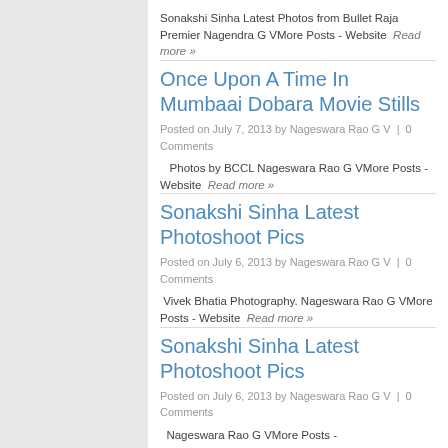Sonakshi Sinha Latest Photos from Bullet Raja Premier Nagendra G VMore Posts - Website  Read more »
Once Upon A Time In Mumbaai Dobara Movie Stills
Posted on July 7, 2013 by Nageswara Rao G V  |  0 Comments
Photos by BCCL Nageswara Rao G VMore Posts - Website  Read more »
Sonakshi Sinha Latest Photoshoot Pics
Posted on July 6, 2013 by Nageswara Rao G V  |  0 Comments
Vivek Bhatia Photography. Nageswara Rao G VMore Posts - Website  Read more »
Sonakshi Sinha Latest Photoshoot Pics
Posted on July 6, 2013 by Nageswara Rao G V  |  0 Comments
Nageswara Rao G VMore Posts -